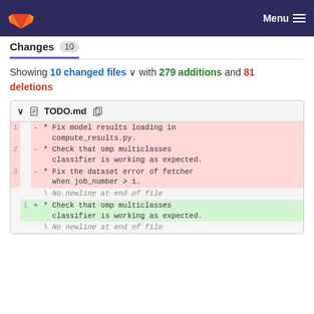Menu
Changes 10
Showing 10 changed files with 279 additions and 81 deletions
| old line | new line | sign | code |
| --- | --- | --- | --- |
| 1 |  | - | * Fix model results loading in compute_results.py. |
| 2 |  | - | * Check that omp multiclasses classifier is working as expected. |
| 3 |  | - | * Fix the dataset error of fetcher when job_number > 1. |
|  |  |  | \ No newline at end of file |
|  | 1 | + | * Check that omp multiclasses classifier is working as expected. |
|  |  |  | \ No newline at end of file |